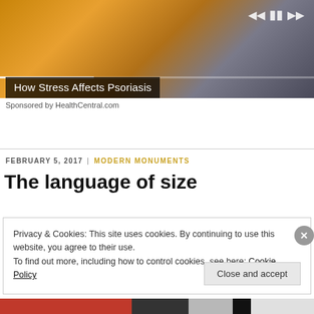[Figure (screenshot): Video thumbnail showing a person in yellow socks/sweater, with media player controls (skip back, pause, skip forward) and a progress bar at bottom. Title overlay reads 'How Stress Affects Psoriasis'.]
Sponsored by HealthCentral.com
FEBRUARY 5, 2017  |  MODERN MONUMENTS
The language of size
Privacy & Cookies: This site uses cookies. By continuing to use this website, you agree to their use.
To find out more, including how to control cookies, see here: Cookie Policy
Close and accept